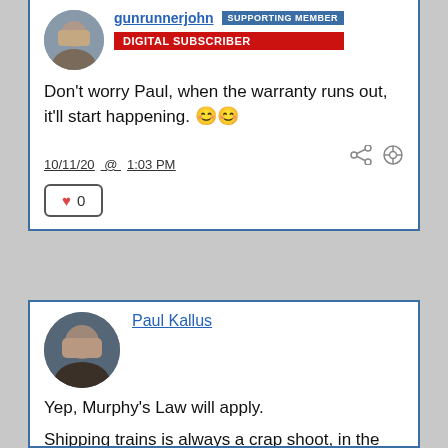gunrunnerjohn
SUPPORTING MEMBER
DIGITAL SUBSCRIBER
Don't worry Paul, when the warranty runs out, it'll start happening. 😊😊
10/11/20 @ 1:03 PM
0
[Figure (photo): Circular avatar photo of gunrunnerjohn, a man smiling]
Paul Kallus
[Figure (photo): Circular avatar photo of Paul Kallus, a man looking at camera]
Yep, Murphy's Law will apply.
Shipping trains is always a crap shoot, in the past